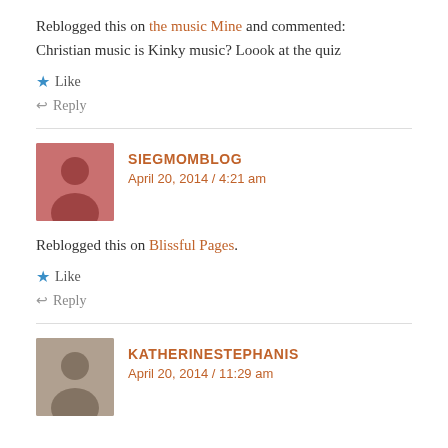Reblogged this on the music Mine and commented:
Christian music is Kinky music? Loook at the quiz
★ Like
↩ Reply
SIEGMOMBLOG
April 20, 2014 / 4:21 am
Reblogged this on Blissful Pages.
★ Like
↩ Reply
KATHERINESTEPHANIS
April 20, 2014 / 11:29 am